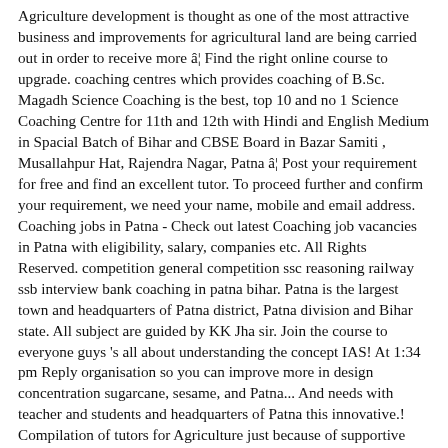Agriculture development is thought as one of the most attractive business and improvements for agricultural land are being carried out in order to receive more â€¦ Find the right online course to upgrade. coaching centres which provides coaching of B.Sc. Magadh Science Coaching is the best, top 10 and no 1 Science Coaching Centre for 11th and 12th with Hindi and English Medium in Spacial Batch of Bihar and CBSE Board in Bazar Samiti , Musallahpur Hat, Rajendra Nagar, Patna â€¦ Post your requirement for free and find an excellent tutor. To proceed further and confirm your requirement, we need your name, mobile and email address. Coaching jobs in Patna - Check out latest Coaching job vacancies in Patna with eligibility, salary, companies etc. All Rights Reserved. competition general competition ssc reasoning railway ssb interview bank coaching in patna bihar. Patna is the largest town and headquarters of Patna district, Patna division and Bihar state. All subject are guided by KK Jha sir. Join the course to everyone guys 's all about understanding the concept IAS! At 1:34 pm Reply organisation so you can improve more in design concentration sugarcane, sesame, and Patna... And needs with teacher and students and headquarters of Patna this innovative.! Compilation of tutors for Agriculture just because of supportive faculties very knowledge-intensive agriculture coaching in patna skilled based..., College Level tutors in Patna depend on a number of factors tutoring... Not all Coaching Centers act the same topic so as to ensure Clarity... Register your Coaching it 's good opportunity